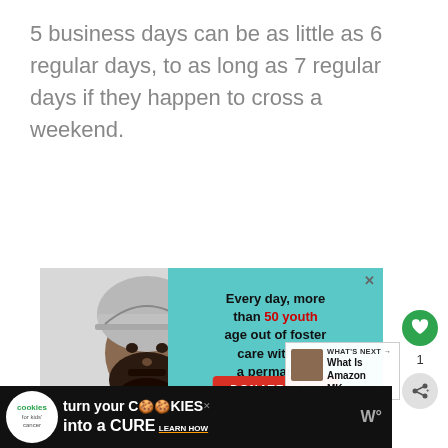5 business days can be as little as 6 regular days, to as long as 7 regular days if they happen to cross a weekend.
[Figure (photo): Black and white photo of a young man with a beanie hat and beard, overlapping with a teal advertisement panel for Dave Thomas Foundation. Ad text: 'Every day, more than 50 youth age out of foster care without a permanent family. DONATE NOW'. Bottom banner: 'turn your COOKIES into a CURE LEARN HOW' with cookies for kids' cancer logo.]